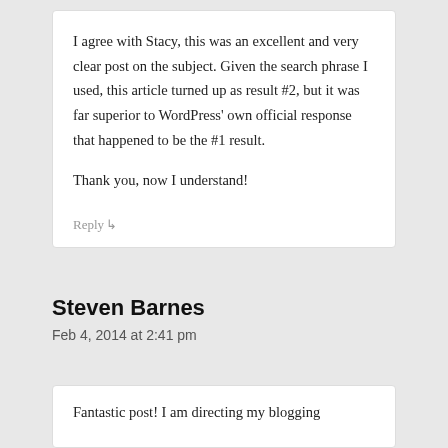I agree with Stacy, this was an excellent and very clear post on the subject. Given the search phrase I used, this article turned up as result #2, but it was far superior to WordPress' own official response that happened to be the #1 result.

Thank you, now I understand!
Reply ↵
Steven Barnes
Feb 4, 2014 at 2:41 pm
Fantastic post! I am directing my blogging